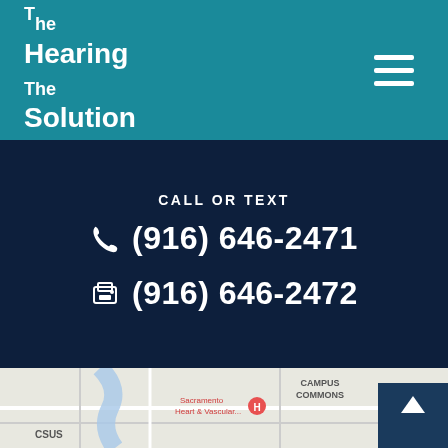The Hearing Solution
CALL OR TEXT
(916) 646-2471
(916) 646-2472
[Figure (map): Google Maps view showing Campus Commons area in Sacramento, CA, with markers for Sacramento Heart & Vascular, American River Courtyard, and CSUS. Blue river running diagonally through the map.]